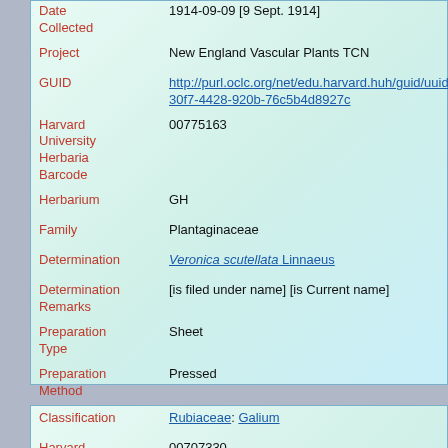| Field | Value |
| --- | --- |
| Date Collected | 1914-09-09 [9 Sept. 1914] |
| Project | New England Vascular Plants TCN |
| GUID | http://purl.oclc.org/net/edu.harvard.huh/guid/uuid/12b30f7-4428-920b-76c5b4d8927c |
| Harvard University Herbaria Barcode | 00775163 |
| Herbarium | GH |
| Family | Plantaginaceae |
| Determination | Veronica scutellata Linnaeus |
| Determination Remarks | [is filed under name] [is Current name] |
| Preparation Type | Sheet |
| Preparation Method | Pressed |
| Field | Value |
| --- | --- |
| Classification | Rubiaceae: Galium |
| Harvard | 00707330 |